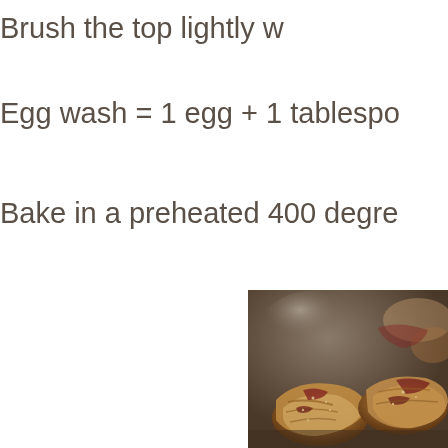Brush the top lightly w…
Egg wash = 1 egg + 1 tablespo…
Bake in a preheated 400 degre…
[Figure (photo): Baked pastry rolls (rugelach) with jam filling, golden-brown, dusted with sugar, on a dark surface]